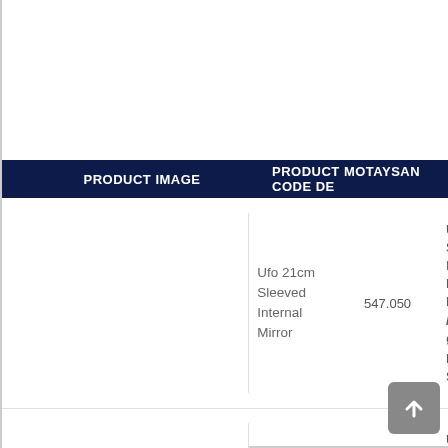| PRODUCT IMAGE | PRODUCT | MOTAYSAN CODE | DE... |
| --- | --- | --- | --- |
|  | Ufo 21cm Sleeved Internal Mirror | 547.050 | Un Sle Int Re Mi / Ø Le Sle |
|  | Ufo 21cm Sleeved Internal Mirror | 547.050 | Un Sle Int Re Mi / Ø Le Sle |